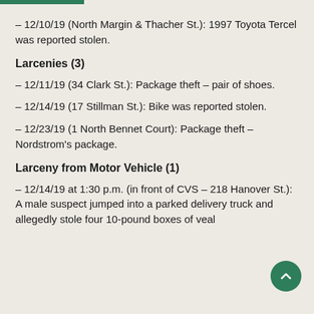– 12/10/19 (North Margin & Thacher St.): 1997 Toyota Tercel was reported stolen.
Larcenies (3)
– 12/11/19 (34 Clark St.): Package theft – pair of shoes.
– 12/14/19 (17 Stillman St.): Bike was reported stolen.
– 12/23/19 (1 North Bennet Court): Package theft – Nordstrom's package.
Larceny from Motor Vehicle (1)
– 12/14/19 at 1:30 p.m. (in front of CVS – 218 Hanover St.): A male suspect jumped into a parked delivery truck and allegedly stole four 10-pound boxes of veal